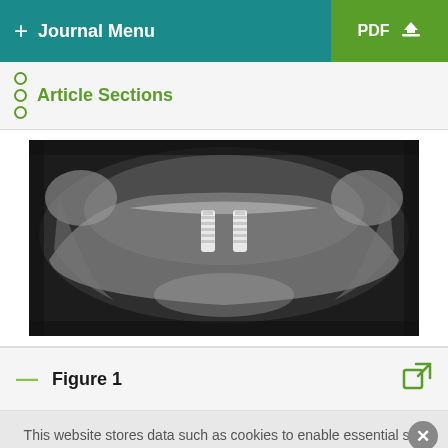+ Journal Menu  PDF ↓
Article Sections
[Figure (photo): Panoramic dental X-ray image showing jaw structure with two dental implants visible in the anterior region]
Figure 1
This website stores data such as cookies to enable essential site functionality, as well as marketing, personalization, and analytics. By remaining on this website you indicate your consent. Cookie Policy